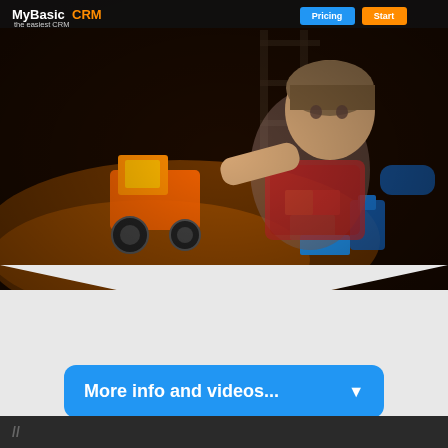MyBasicCRM the easiest CRM | Pricing | Start
[Figure (photo): A child playing with colorful toy blocks and a toy tractor/vehicle on a dark floor, photographed in warm ambient lighting. The child appears to be reaching or gesturing with one hand.]
More info and videos...
//